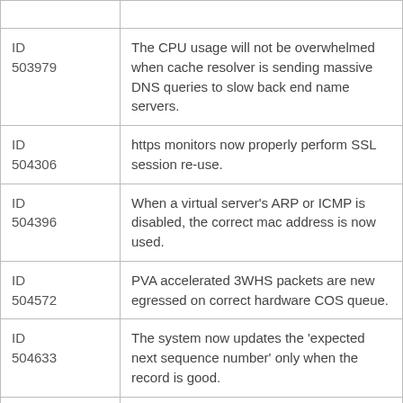| ID | Description |
| --- | --- |
| ID 503979 | The CPU usage will not be overwhelmed when cache resolver is sending massive DNS queries to slow back end name servers. |
| ID 504306 | https monitors now properly perform SSL session re-use. |
| ID 504396 | When a virtual server's ARP or ICMP is disabled, the correct mac address is now used. |
| ID 504572 | PVA accelerated 3WHS packets are new egressed on correct hardware COS queue. |
| ID 504633 | The system now updates the 'expected next sequence number' only when the record is good. |
| ID 505056 | Packet priority passthrough mode is now working properly. |
| ID 505222 | "In current implementation, DTLS sends CN requests one by one. DTLS sends one request, waits for the response and then sends another one. The fix is sending multiple requests currently to CN." |